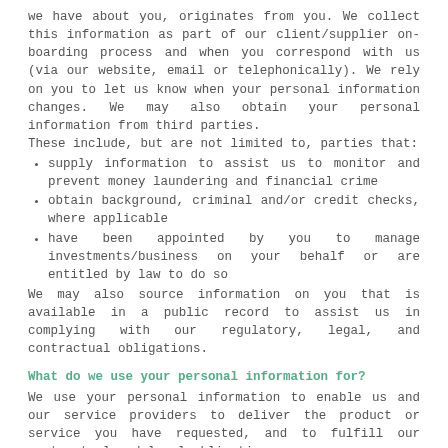we have about you, originates from you. We collect this information as part of our client/supplier on-boarding process and when you correspond with us (via our website, email or telephonically). We rely on you to let us know when your personal information changes. We may also obtain your personal information from third parties.
These include, but are not limited to, parties that:
supply information to assist us to monitor and prevent money laundering and financial crime
obtain background, criminal and/or credit checks, where applicable
have been appointed by you to manage investments/business on your behalf or are entitled by law to do so
We may also source information on you that is available in a public record to assist us in complying with our regulatory, legal, and contractual obligations.
What do we use your personal information for?
We use your personal information to enable us and our service providers to deliver the product or service you have requested, and to fulfill our contractual and legal obligations.
This may include, but is not limited to: